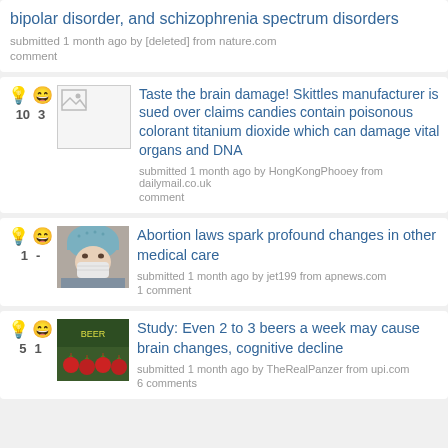bipolar disorder, and schizophrenia spectrum disorders
submitted 1 month ago by [deleted] from nature.com
comment
Taste the brain damage! Skittles manufacturer is sued over claims candies contain poisonous colorant titanium dioxide which can damage vital organs and DNA
submitted 1 month ago by HongKongPhooey from dailymail.co.uk
comment
Abortion laws spark profound changes in other medical care
submitted 1 month ago by jet199 from apnews.com
1 comment
Study: Even 2 to 3 beers a week may cause brain changes, cognitive decline
submitted 1 month ago by TheRealPanzer from upi.com
6 comments